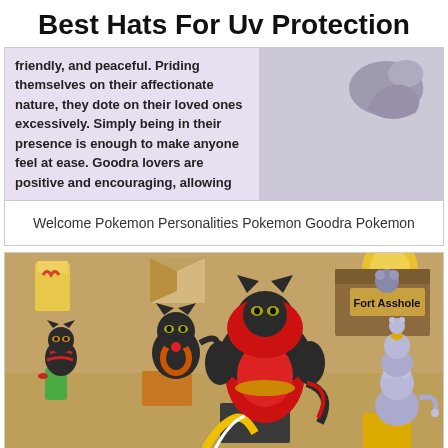Best Hats For Uv Protection
friendly, and peaceful. Priding themselves on their affectionate nature, they dote on their loved ones excessively. Simply being in their presence is enough to make anyone feel at ease. Goodra lovers are positive and encouraging, allowing
Welcome Pokemon Personalities Pokemon Goodra Pokemon
[Figure (illustration): Cartoon illustration of Pokemon characters (Litten, Torracat, Incineroar evolution line and Meowth variants) sitting in cardboard boxes. One box is labeled 'Fort Asshole'. Background is tan/brown cardboard color with scattered boxes.]